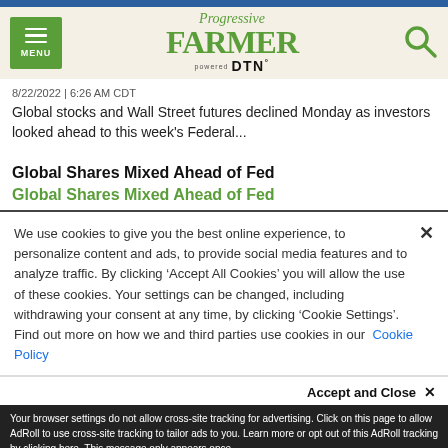Progressive FARMER powered by DTN
8/22/2022 | 6:26 AM CDT
Global stocks and Wall Street futures declined Monday as investors looked ahead to this week's Federal...
Global Shares Mixed Ahead of Fed
Global Shares Mixed Ahead of Fed
We use cookies to give you the best online experience, to personalize content and ads, to provide social media features and to analyze traffic. By clicking 'Accept All Cookies' you will allow the use of these cookies. Your settings can be changed, including withdrawing your consent at any time, by clicking 'Cookie Settings'. Find out more on how we and third parties use cookies in our Cookie Policy
Accept and Close ×
Your browser settings do not allow cross-site tracking for advertising. Click on this page to allow AdRoll to use cross-site tracking to tailor ads to you. Learn more or opt out of this AdRoll tracking by clicking here. This message only appears once.